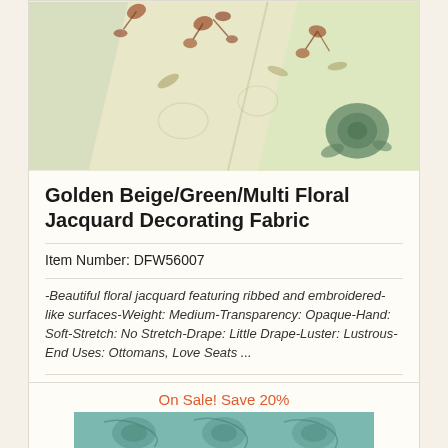[Figure (photo): Close-up photo of golden beige fabric with green and red/rust floral jacquard pattern, showing two folded pieces of fabric]
Golden Beige/Green/Multi Floral Jacquard Decorating Fabric
Item Number: DFW56007
-Beautiful floral jacquard featuring ribbed and embroidered-like surfaces-Weight: Medium-Transparency: Opaque-Hand: Soft-Stretch: No Stretch-Drape: Little Drape-Luster: Lustrous-End Uses: Ottomans, Love Seats ...
Sale: $11.96 / Yard
Original Price: $14.95
You Save: $2.99
On Sale! Save 20%
[Figure (photo): Partial photo of a second fabric product showing a teal/blue jacquard pattern]